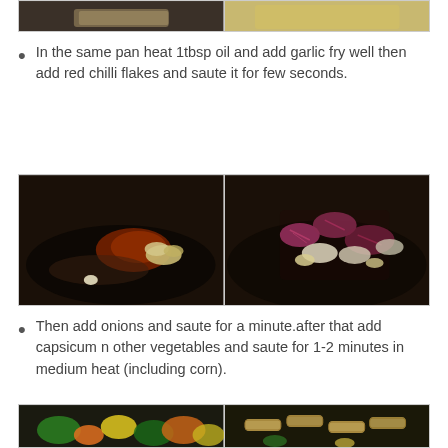[Figure (photo): Two cooking photos at top: left shows spices/herbs on dark surface, right shows corn/grain on light plate]
In the same pan heat 1tbsp oil and add garlic fry well then add red chilli flakes and saute it for few seconds.
[Figure (photo): Two cooking photos: left shows garlic and red chilli flakes in dark pan, right shows chopped red onions and garlic in dark pan]
Then add onions and saute for a minute.after that add capsicum n other vegetables and saute for 1-2 minutes in medium heat (including corn).
[Figure (photo): Two cooking photos: left shows mixed vegetables including broccoli, carrots, corn in pan, right shows cooked penne pasta with vegetables in pan]